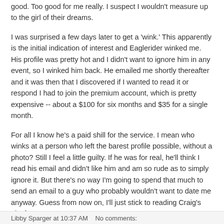good. Too good for me really. I suspect I wouldn't measure up to the girl of their dreams.
I was surprised a few days later to get a 'wink.' This apparently is the initial indication of interest and Eaglerider winked me. His profile was pretty hot and I didn't want to ignore him in any event, so I winked him back. He emailed me shortly thereafter and it was then that I discovered if I wanted to read it or respond I had to join the premium account, which is pretty expensive -- about a $100 for six months and $35 for a single month.
For all I know he's a paid shill for the service. I mean who winks at a person who left the barest profile possible, without a photo? Still I feel a little guilty. If he was for real, he'll think I read his email and didn't like him and am so rude as to simply ignore it. But there's no way I'm going to spend that much to send an email to a guy who probably wouldn't want to date me anyway. Guess from now on, I'll just stick to reading Craig's List for my amusement.
Libby Sparger at 10:37 AM   No comments: